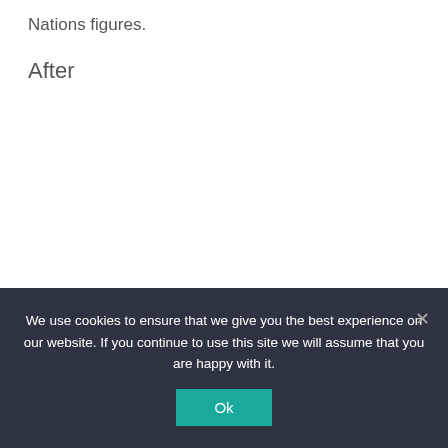Nations figures.
After
We use cookies to ensure that we give you the best experience on our website. If you continue to use this site we will assume that you are happy with it.
Ok